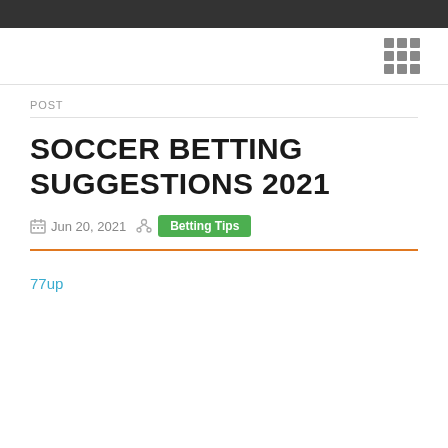POST
SOCCER BETTING SUGGESTIONS 2021
Jun 20, 2021   Betting Tips
77up